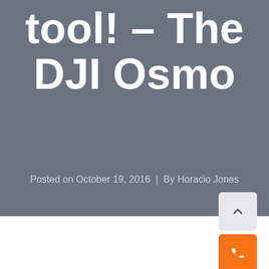tool! – The DJI Osmo
Posted on October 19, 2016  |  By Horacio Jones